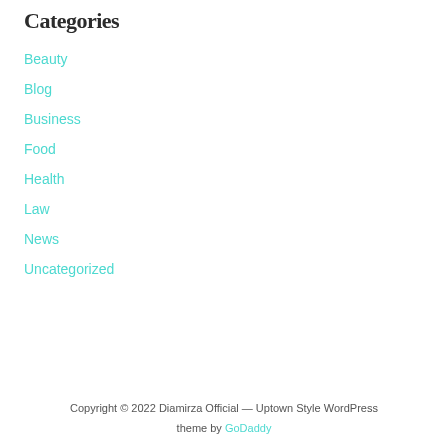Categories
Beauty
Blog
Business
Food
Health
Law
News
Uncategorized
Copyright © 2022 Diamirza Official — Uptown Style WordPress theme by GoDaddy